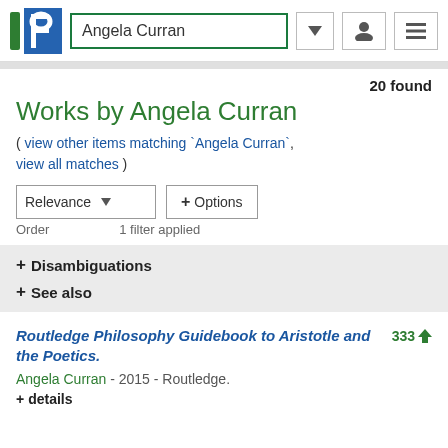[Figure (screenshot): PhilPapers website header with logo, search box showing 'Angela Curran', dropdown arrow, user icon, and menu icon]
20 found
Works by Angela Curran
( view other items matching `Angela Curran`, view all matches )
Relevance  ✓  + Options
Order    1 filter applied
+ Disambiguations
+ See also
Routledge Philosophy Guidebook to Aristotle and the Poetics.
Angela Curran - 2015 - Routledge.
+ details